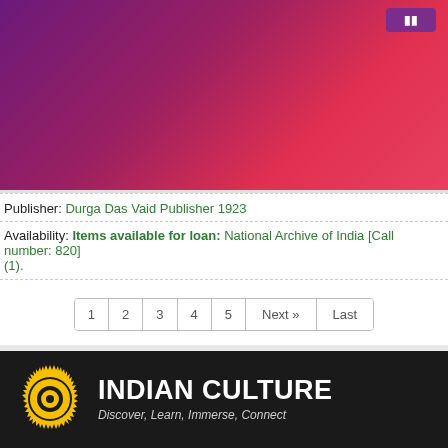[Figure (screenshot): Purple-to-red gradient header banner with a button in the top right corner]
Publisher: Durga Das Vaid Publisher 1923
Availability: Items available for loan: National Archive of India [Call number: 820] (1).
1 2 3 4 5 Next » Last
[Figure (logo): Indian Culture logo with Ashoka Chakra sun symbol in yellow, bold white text INDIAN CULTURE, tagline Discover, Learn, Immerse, Connect]
Recognizing the ongoing need to position itself for the digital future, Indian Culture is an initiative by the Ministry of Culture. A platform that hosts data of cultural relevance from various repositories and institutions all over India.